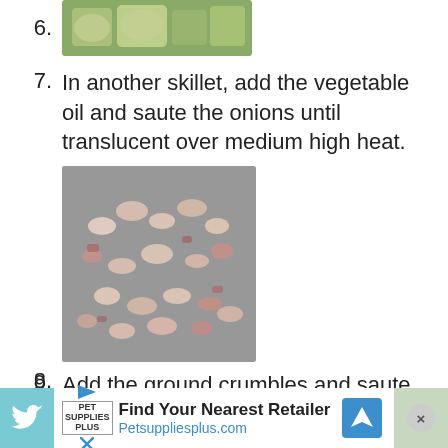6. [image of cooked eggplant in skillet]
7. In another skillet, add the vegetable oil and saute the onions until translucent over medium high heat.
[Figure (photo): Chopped red onions sauteing in a skillet, appearing translucent and slightly browned]
8. [image placeholder]
9. Add the ground crumbles and saute until heated through.
[Figure (photo): Ground crumbles sauteing in a pan, brown and crumbly texture]
Find Your Nearest Retailer Petsuppliesplus.com